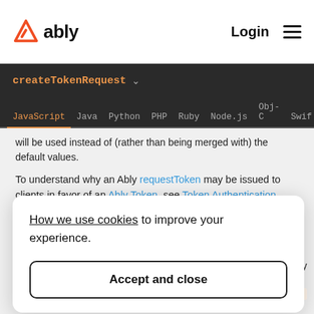ably | Login
createTokenRequest
JavaScript  Java  Python  PHP  Ruby  Node.js  Obj-C  Swift
will be used instead of (rather than being merged with) the default values.
To understand why an Ably requestToken may be issued to clients in favor of an Ably Token, see Token Authentication explained.
Parameters
How we use cookies to improve your experience.
Accept and close
rs for the Ably
Type: TokenParams